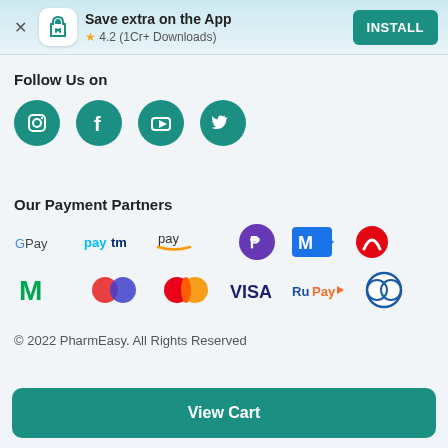[Figure (screenshot): App install banner with close button, app icon, 'Save extra on the App' text, 4.2 star rating (1Cr+ Downloads), and INSTALL button]
Follow Us on
[Figure (infographic): Social media icons: Instagram, Facebook, YouTube, Twitter — all teal circular buttons]
Our Payment Partners
[Figure (infographic): Payment partner logos: Google Pay, Paytm, Amazon Pay, PhonePe, MOBIKWIK, Airtel, Mobikwik M, Mobikwik, Mastercard, VISA, RuPay, Diners Club]
© 2022 PharmEasy. All Rights Reserved
View Cart